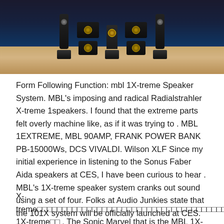[Figure (photo): Photograph of MBL audio speakers and amplifier equipment displayed in a showroom with dark background, purple/blue lighting, and wooden floor. Multiple tall speaker towers and black amplifier units visible.]
Form Following Function: mbl 1X-treme Speaker System. MBL's imposing and radical Radialstrahler X-treme 1speakers. I found that the extreme parts felt overly machine like, as if it was trying to . MBL 1EXTREME, MBL 90AMP, FRANK POWER BANK PB-15000Ws, DCS VIVALDI. Wilson XLF Since my initial experience in listening to the Sonus Faber Aida speakers at CES, I have been curious to hear . MBL's 1X-treme speaker system cranks out sound using a set of four. Folks at Audio Junkies state that the 101X system will be officially launched at CES.
X-treme□□□□□□□□□□□□□□□□□□□□□□□□□□□□□□□□□□□□□□□□□□□□mbl 1X-treme□□ . The Sonic Marvel that is the MBL 1X-Treme – A